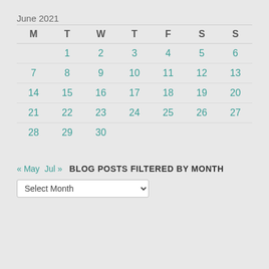June 2021
| M | T | W | T | F | S | S |
| --- | --- | --- | --- | --- | --- | --- |
|  | 1 | 2 | 3 | 4 | 5 | 6 |
| 7 | 8 | 9 | 10 | 11 | 12 | 13 |
| 14 | 15 | 16 | 17 | 18 | 19 | 20 |
| 21 | 22 | 23 | 24 | 25 | 26 | 27 |
| 28 | 29 | 30 |  |  |  |  |
« May  Jul »
BLOG POSTS FILTERED BY MONTH
Select Month